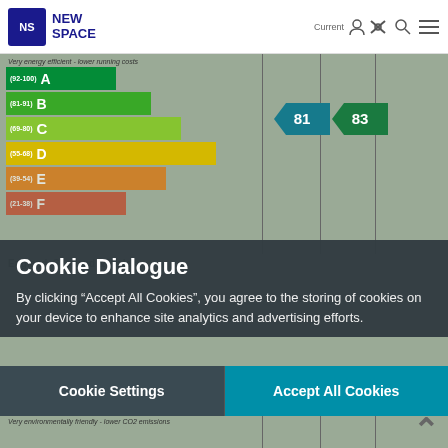NEW SPACE
[Figure (infographic): Energy efficiency rating EPC chart showing color-coded bands A through F with current rating 81 and potential rating 83 indicated by teal arrow badges]
Cookie Dialogue
By clicking "Accept All Cookies", you agree to the storing of cookies on your device to enhance site analytics and advertising efforts.
Cookie Settings
Accept All Cookies
[Figure (infographic): Environmental impact CO2 rating EPC chart showing color-coded bands A through E with current rating 83 and potential rating 86 indicated by teal arrow badges]